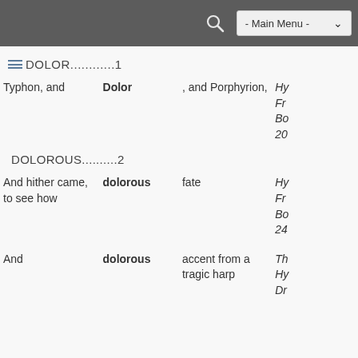- Main Menu -
DOLOR............1
| Before | Keyword | After | Source |
| --- | --- | --- | --- |
| Typhon, and | Dolor | , and Porphyrion, | Hy Fr Bo 20 |
DOLOROUS..........2
| Before | Keyword | After | Source |
| --- | --- | --- | --- |
| And hither came, to see how | dolorous | fate | Hy Fr Bo 24 |
| And | dolorous | accent from a tragic harp | Th Hy Dr |